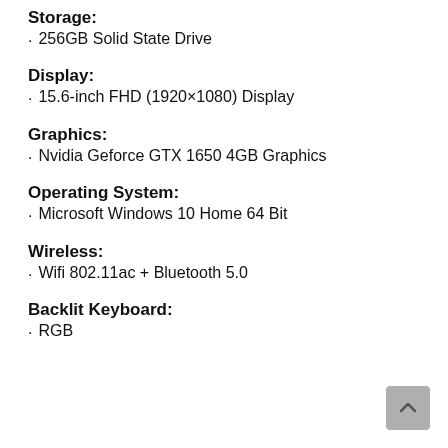Storage:
256GB Solid State Drive
Display:
15.6-inch FHD (1920×1080) Display
Graphics:
Nvidia Geforce GTX 1650 4GB Graphics
Operating System:
Microsoft Windows 10 Home 64 Bit
Wireless:
Wifi 802.11ac + Bluetooth 5.0
Backlit Keyboard:
RGB